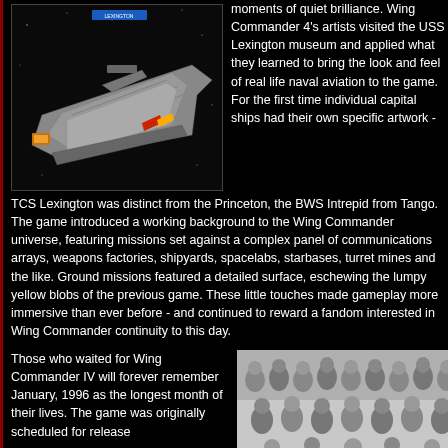[Figure (photo): 3D rendered spacecraft model (TCS Lexington carrier) against a black starfield background, with a blue label at top]
moments of quiet brilliance. Wing Commander 4's artists visited the USS Lexington museum and applied what they learned to bring the look and feel of real life naval aviation to the game. For the first time individual capital ships had their own specific artwork -
TCS Lexington was distinct from the Princeton, the BWS Intrepid from Tango. The game introduced a working background to the Wing Commander universe, featuring missions set against a complex panel of communications arrays, weapons factories, shipyards, spacelabs, starbases, turret mines and the like. Ground missions featured a detailed surface, eschewing the lumpy yellow blobs of the previous game. These little touches made gameplay more immersive than ever before - and continued to reward a fandom interested in Wing Commander continuity to this day.
Those who waited for Wing Commander IV will forever remember January, 1996 as the longest month of their lives. The game was originally scheduled for release
[Figure (photo): Black and white group photo of the Wing Commander IV development team, approximately 20 people posed together in an office or room setting]